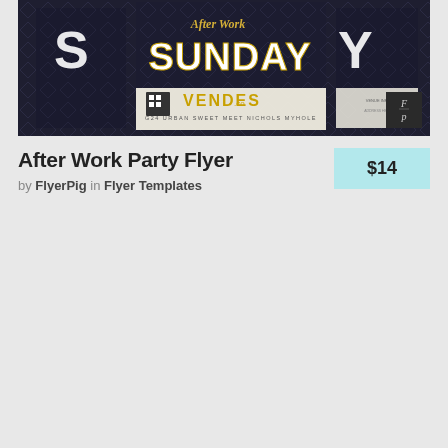[Figure (photo): Product thumbnail showing an After Work Party Flyer design - dark navy/black background with diamond pattern, large gold and white text reading 'SUNDAY' with 'After Work' script above it, and 'VENDES' in gold text. A FlyerPig logo (Fp) appears in the bottom right corner of the image. Multiple versions of the flyer are shown overlapping.]
After Work Party Flyer
by FlyerPig in Flyer Templates
$14